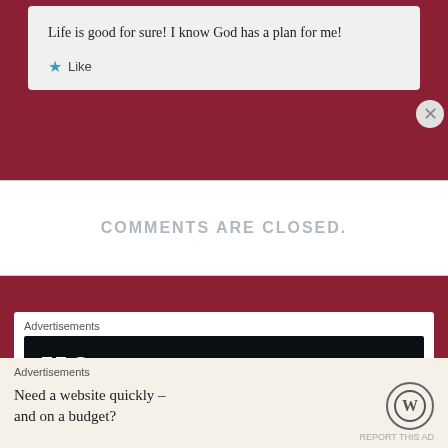Life is good for sure! I know God has a plan for me!
★ Like
COMMENTS ARE CLOSED.
Advertisements
[Figure (screenshot): Dark advertisement banner with P2 logo (two dots and the number 2) and partial text 'Fewer meetings' at the bottom]
Advertisements
Need a website quickly – and on a budget?
[Figure (logo): WordPress logo — W in a circle]
REPORT THIS AD